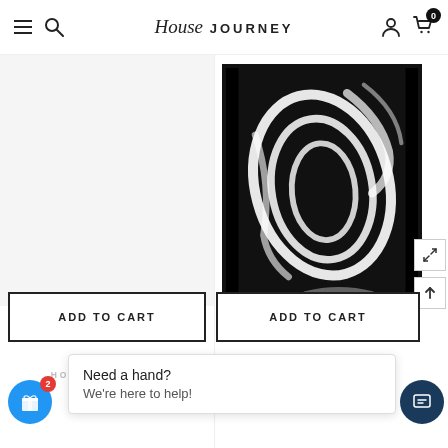House Journey — navigation bar with hamburger, search, logo, user icon, cart (0)
[Figure (screenshot): E-commerce product page for House Journey showing abstract black-and-white framed artwork with swirling white brushstrokes on black background. Two ADD TO CART buttons visible. House Journey brand labels below buttons. Chat popup 'Need a hand? We're here to help!' with gift widget and chat widget buttons.]